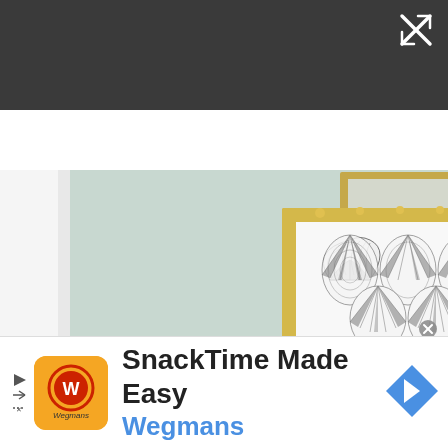[Figure (screenshot): Dark gray top toolbar with a close/expand icon (X with arrows) in the top right corner]
[Figure (photo): Interior room photo showing a framed art print with art deco fan/shell pattern in black and white, inside an ornate gold frame, mounted on a light green/mint wall. Person's head (dark hair) visible at bottom.]
[Figure (other): Advertisement banner: Wegmans SnackTime Made Easy ad with orange logo, text 'SnackTime Made Easy' and 'Wegmans' in blue, navigation arrow icon on right, play/skip controls on left]